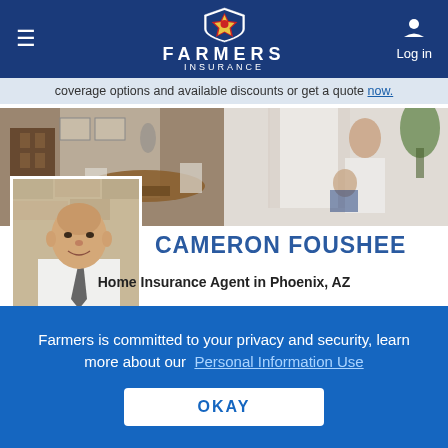[Figure (logo): Farmers Insurance logo with shield icon, white text on dark blue header bar, with hamburger menu on left and Log in button on right]
coverage options and available discounts or get a quote now.
[Figure (photo): Hero banner with two photos: left showing a dining room interior, right showing a woman with a baby]
[Figure (photo): Headshot of Cameron Foushee, a middle-aged man in a white shirt and tie]
CAMERON FOUSHEE
Home Insurance Agent in Phoenix, AZ
Farmers is committed to your privacy and security, learn more about our Personal Information Use
OKAY